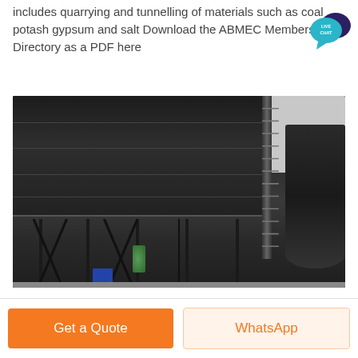includes quarrying and tunnelling of materials such as coal potash gypsum and salt Download the ABMEC Members Directory as a PDF here
[Figure (photo): Industrial dust collector or baghouse filter unit — a large dark rectangular structure on metal legs with external pipe/ladder framework and large cylindrical duct on the right side, photographed outdoors]
Get a Quote
WhatsApp